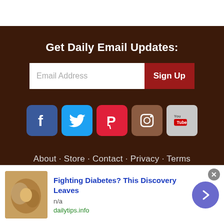Get Daily Email Updates:
[Figure (screenshot): Email signup form with text input 'Email Address' and red 'Sign Up' button]
[Figure (infographic): Social media icons: Facebook, Twitter, Pinterest, Instagram, YouTube]
About · Store · Contact · Privacy · Terms
© 2022 Barn Finds · All Rights Reserved
[Figure (screenshot): Ad banner: Fighting Diabetes? This Discovery Leaves — n/a — dailytips.info]